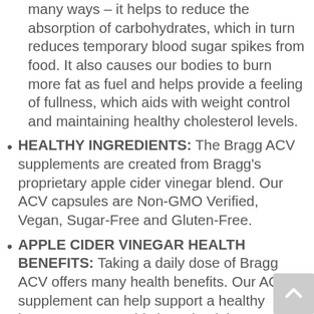many ways – it helps to reduce the absorption of carbohydrates, which in turn reduces temporary blood sugar spikes from food. It also causes our bodies to burn more fat as fuel and helps provide a feeling of fullness, which aids with weight control and maintaining healthy cholesterol levels.
HEALTHY INGREDIENTS: The Bragg ACV supplements are created from Bragg's proprietary apple cider vinegar blend. Our ACV capsules are Non-GMO Verified, Vegan, Sugar-Free and Gluten-Free.
APPLE CIDER VINEGAR HEALTH BENEFITS: Taking a daily dose of Bragg ACV offers many health benefits. Our ACV supplement can help support a healthy immune system, aids in maintaining a healthy weight, acts as an appetite